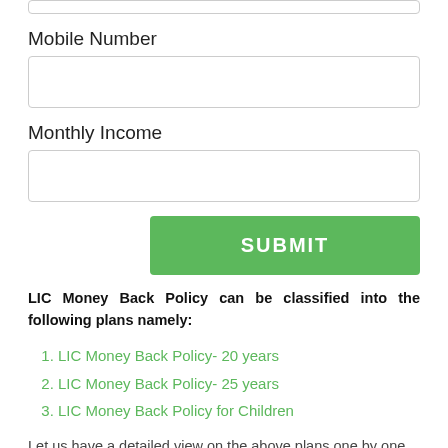Mobile Number
Monthly Income
SUBMIT
LIC Money Back Policy can be classified into the following plans namely:
LIC Money Back Policy- 20 years
LIC Money Back Policy- 25 years
LIC Money Back Policy for Children
Let us have a detailed view on the above plans one by one.